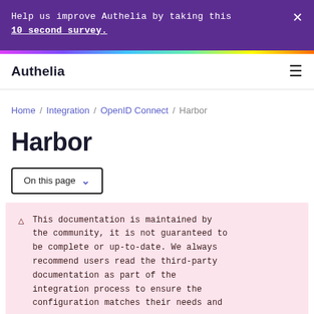Help us improve Authelia by taking this 10 second survey.
Authelia
Home / Integration / OpenID Connect / Harbor
Harbor
On this page
This documentation is maintained by the community, it is not guaranteed to be complete or up-to-date. We always recommend users read the third-party documentation as part of the integration process to ensure the configuration matches their needs and